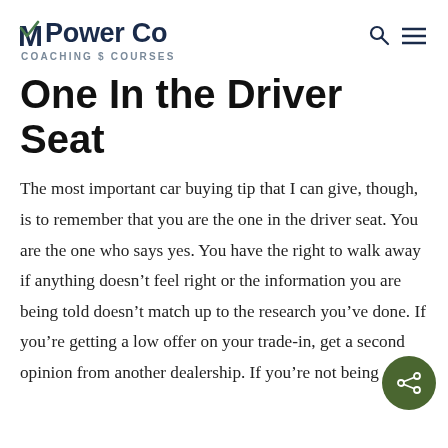MPower Co COACHING $ COURSES
One In the Driver Seat
The most important car buying tip that I can give, though, is to remember that you are the one in the driver seat. You are the one who says yes. You have the right to walk away if anything doesn't feel right or the information you are being told doesn't match up to the research you've done. If you're getting a low offer on your trade-in, get a second opinion from another dealership. If you're not being